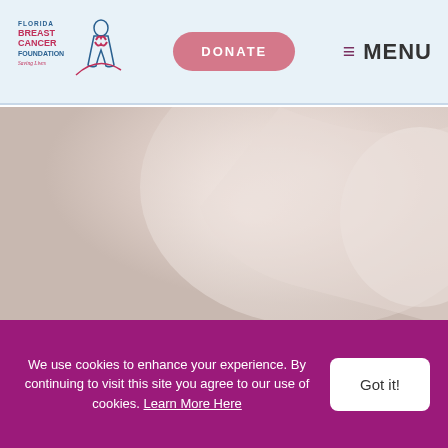[Figure (logo): Florida Breast Cancer Foundation logo with stylized figure and pink ribbon, tagline 'Saving Lives']
[Figure (photo): Soft pink/cream textured background photograph, likely showing soft fabric or skin texture]
We use cookies to enhance your experience. By continuing to visit this site you agree to our use of cookies. Learn More Here